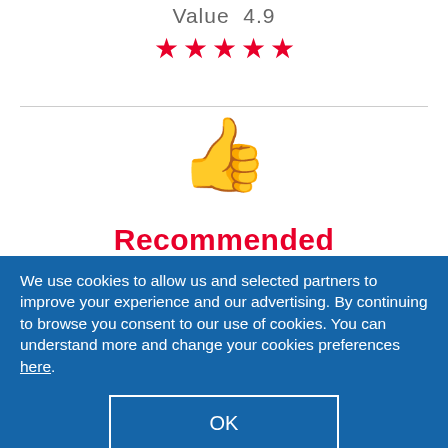Value  4.9
[Figure (other): Five red star rating icons]
[Figure (other): Red thumbs up emoji icon]
Recommended
We use cookies to allow us and selected partners to improve your experience and our advertising. By continuing to browse you consent to our use of cookies. You can understand more and change your cookies preferences here.
OK